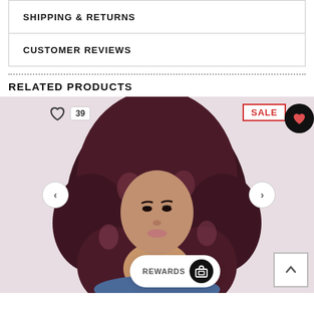SHIPPING & RETURNS
CUSTOMER REVIEWS
RELATED PRODUCTS
[Figure (photo): Woman model with long curly dark burgundy/maroon hair, wearing a blue top, facing slightly to the side. Product listing image with heart/like button showing 39 likes, a SALE badge, navigation arrows, back-to-top button, and a REWARDS bar at the bottom.]